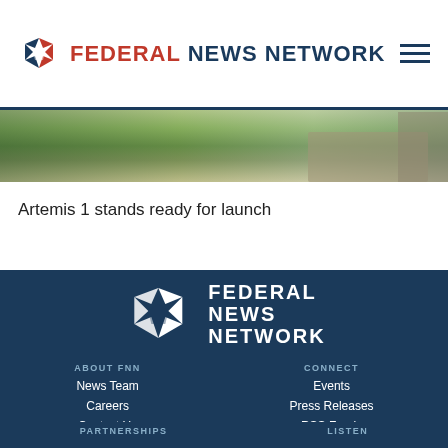FEDERAL NEWS NETWORK
[Figure (photo): Artemis 1 rocket on launch pad, outdoor scene with green fields and industrial structures visible under bright sky]
Artemis 1 stands ready for launch
[Figure (logo): Federal News Network logo in white on dark blue background, large footer version]
ABOUT FNN
News Team
Careers
Contact Us
CONNECT
Events
Press Releases
RSS Feeds
PARTNERSHIPS
LISTEN